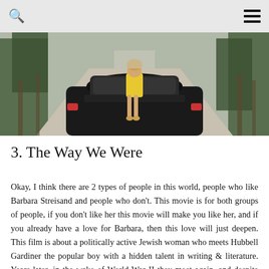[search icon] [menu icon]
[Figure (photo): A woman in yellow dress sitting on the trunk of a dark car on a tree-lined road, photographed from behind.]
3. The Way We Were
Okay, I think there are 2 types of people in this world, people who like Barbara Streisand and people who don't. This movie is for both groups of people, if you don't like her this movie will make you like her, and if you already have a love for Barbara, then this love will just deepen. This film is about a politically active Jewish woman who meets Hubbell Gardiner the popular boy with a hidden talent in writing & literature. Years later, in the wake of World War II they meet again, and despite their obvious differences, marry. Hubbell wants to be a screenwriter, so the two move to California despite Katie's objections. They prosper there, but as the Hollywood blacklist looms, Katie's activism threatens her husband's